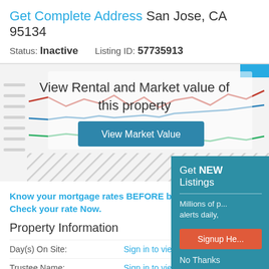Get Complete Address San Jose, CA 95134
Status: Inactive   Listing ID: 57735913
[Figure (line-chart): Line chart showing rental and market value trends for the property with three lines (red, blue, green). Overlaid with text 'View Rental and Market value of this property' and a 'View Market Value' button.]
Know your mortgage rates BEFORE buying a... Check your rate Now.
Property Information
Day(s) On Site:   Sign in to view
Trustee Name:   Sign in to view